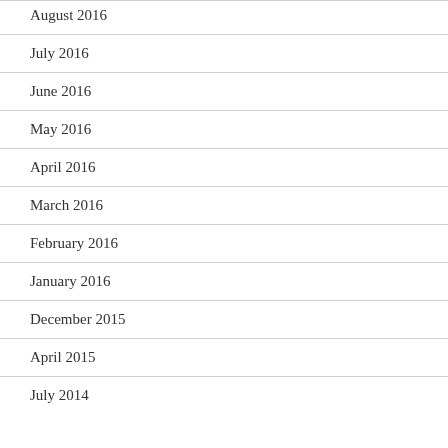August 2016
July 2016
June 2016
May 2016
April 2016
March 2016
February 2016
January 2016
December 2015
April 2015
July 2014